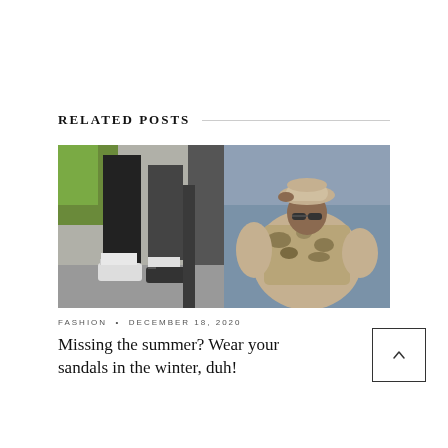RELATED POSTS
[Figure (photo): Two fashion photos side by side: left shows close-up of feet wearing sandals with socks on a street, right shows a woman in a camo/tie-dye outfit wearing a bucket hat and sunglasses.]
FASHION • DECEMBER 18, 2020
Missing the summer? Wear your sandals in the winter, duh!